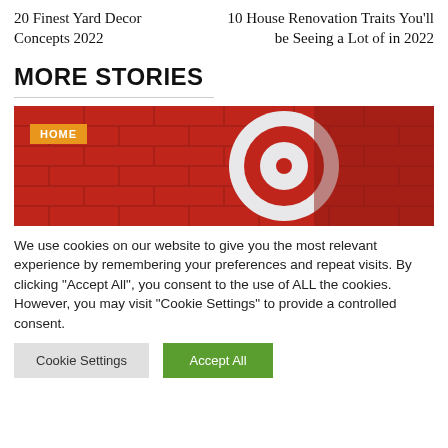20 Finest Yard Decor Concepts 2022
10 House Renovation Traits You'll be Seeing a Lot of in 2022
MORE STORIES
[Figure (photo): Target store exterior with the red bullseye logo on a red brick wall. An orange 'HOME' badge overlays the top-left corner.]
We use cookies on our website to give you the most relevant experience by remembering your preferences and repeat visits. By clicking "Accept All", you consent to the use of ALL the cookies. However, you may visit "Cookie Settings" to provide a controlled consent.
Cookie Settings
Accept All